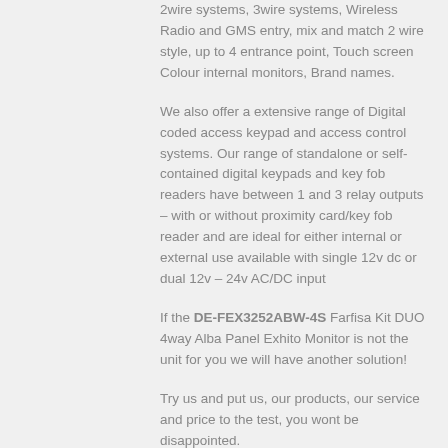2wire systems, 3wire systems, Wireless Radio and GMS entry, mix and match 2 wire style, up to 4 entrance point, Touch screen Colour internal monitors, Brand names.
We also offer a extensive range of Digital coded access keypad and access control systems. Our range of standalone or self-contained digital keypads and key fob readers have between 1 and 3 relay outputs – with or without proximity card/key fob reader and are ideal for either internal or external use available with single 12v dc or dual 12v – 24v AC/DC input
If the DE-FEX3252ABW-4S Farfisa Kit DUO 4way Alba Panel Exhito Monitor is not the unit for you we will have another solution!
Try us and put us, our products, our service and price to the test, you wont be disappointed.